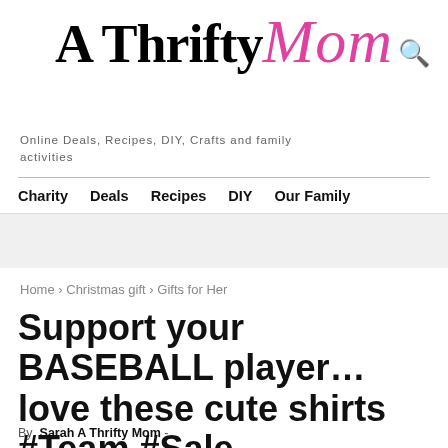A Thrifty Mom
Online Deals, Recipes, DIY, Crafts and family activities
Charity  Deals  Recipes  DIY  Our Family
Home › Christmas gift › Gifts for Her
Support your BASEBALL player… love these cute shirts #Team #Sale
By Sarah A Thrifty Mom -